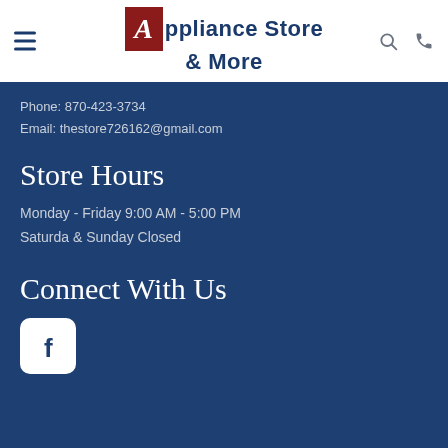The Appliance Store & More
Phone: 870-423-3734
Email: thestore726162@gmail.com
Store Hours
Monday - Friday 9:00 AM - 5:00 PM
Saturda & Sunday Closed
Connect With Us
[Figure (logo): Facebook logo icon — white rounded square with letter F]